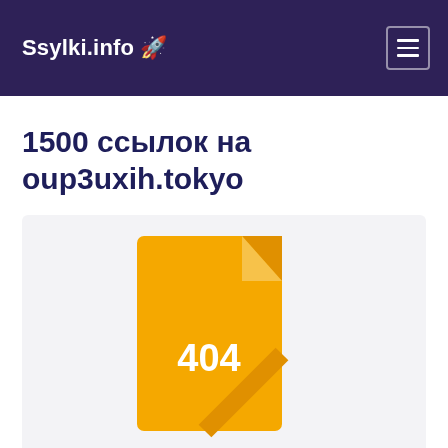Ssylki.info 🚀
1500 ссылок на oup3uxih.tokyo
[Figure (illustration): Yellow document icon with folded top-right corner and '404' text in white, displayed inside a light gray rounded box.]